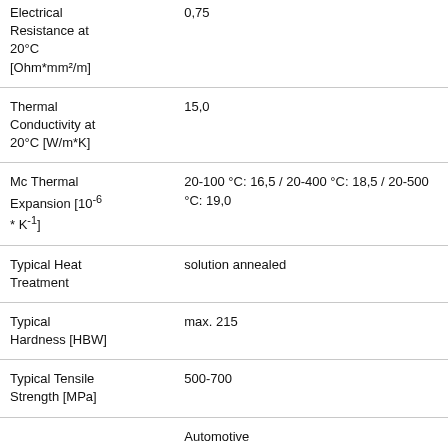| Property | Value |
| --- | --- |
| Electrical Resistance at 20°C [Ohm*mm²/m] | 0,75 |
| Thermal Conductivity at 20°C [W/m*K] | 15,0 |
| Mc Thermal Expansion [10⁻⁶ * K⁻¹] | 20-100 °C: 16,5 / 20-400 °C: 18,5 / 20-500 °C: 19,0 |
| Typical Heat Treatment | solution annealed |
| Typical Hardness [HBW] | max. 215 |
| Typical Tensile Strength [MPa] | 500-700 |
|  | Automotive
Aerospace
Chemical industry |